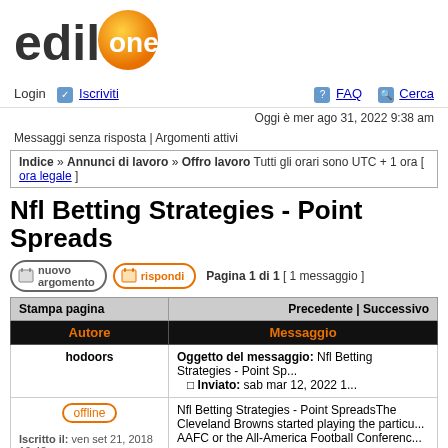[Figure (logo): edilone logo with orange sphere and bold text]
Login  Iscriviti   FAQ   Cerca
Oggi è mer ago 31, 2022 9:38 am
Messaggi senza risposta | Argomenti attivi
Indice » Annunci di lavoro » Offro lavoro Tutti gli orari sono UTC + 1 ora [ ora legale ]
Nfl Betting Strategies - Point Spreads
Pagina 1 di 1  [ 1 messaggio ]
| Autore | Messaggio |
| --- | --- |
| hodoors | Oggetto del messaggio: Nfl Betting Strategies - Point Sp...
□ Inviato: sab mar 12, 2022 1... |
| offline
Iscritto il: ven set 21, 2018 10:43 | Nfl Betting Strategies - Point SpreadsThe Cleveland Browns started playing the particu... AAFC or the All-America Football Conferenc... |